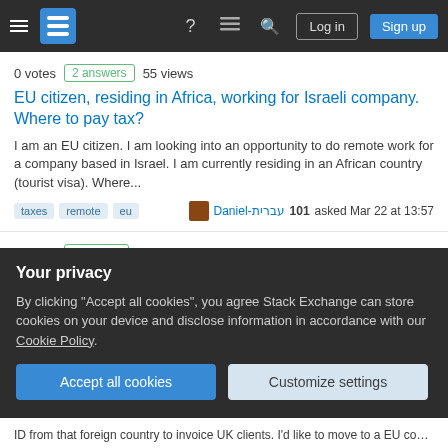Stack Exchange navigation bar with hamburger menu, logo, help, chat, search icons, Log in and Sign up buttons
0 votes   2 answers   55 views
EU citizen, residing in Africa, working for Israeli company. Where to pay tax?
I am an EU citizen. I am looking into an opportunity to do remote work for a company based in Israel. I am currently residing in an African country (tourist visa). Where...
tags: taxes, remote, eu | Daniel-עברית 101 asked Mar 22 at 13:57
0 votes   1 answer   32 views
Tax handling between Johnson City, TN and the EU
I'm an EU citizen (living and working from Austria) and have a customer in Johnson City, TN, USA. When issuing invoices for software development services I rendere...
Your privacy
By clicking "Accept all cookies", you agree Stack Exchange can store cookies on your device and disclose information in accordance with our Cookie Policy.
Accept all cookies   Customize settings
ID from that foreign country to invoice UK clients. I'd like to move to a EU country a...